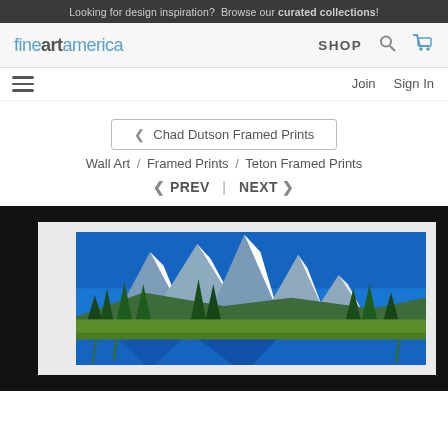Looking for design inspiration? Browse our curated collections!
[Figure (logo): Fine Art America logo with navigation: SHOP, search icon, cart icon]
[Figure (screenshot): Navigation bar with hamburger menu, Join and Sign In links]
< Chad Dutson Framed Prints
Wall Art / Framed Prints / Teton Framed Prints
< PREV | NEXT >
[Figure (photo): Framed landscape photograph of Teton mountain range with snow-capped peaks, evergreen trees, and reflective lake in foreground, in black frame with white mat]